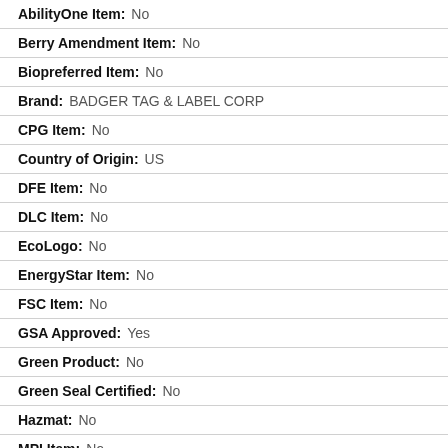AbilityOne Item: No
Berry Amendment Item: No
Biopreferred Item: No
Brand: BADGER TAG & LABEL CORP
CPG Item: No
Country of Origin: US
DFE Item: No
DLC Item: No
EcoLogo: No
EnergyStar Item: No
FSC Item: No
GSA Approved: Yes
Green Product: No
Green Seal Certified: No
Hazmat: No
MPI Item: No